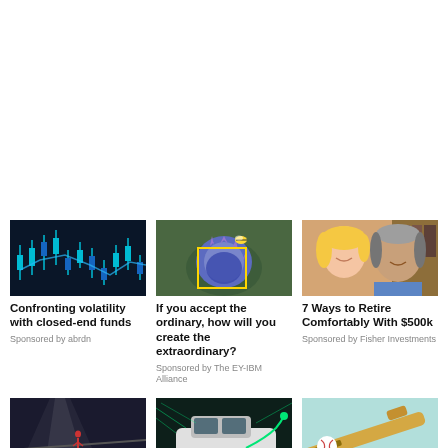[Figure (illustration): Stock market candlestick chart with blue/cyan lines on dark background]
Confronting volatility with closed-end funds
Sponsored by abrdn
[Figure (photo): Bee on a blue thistle flower with yellow AI detection bounding box overlay]
If you accept the ordinary, how will you create the extraordinary?
Sponsored by The EY-IBM Alliance
[Figure (photo): Smiling older couple, blonde woman and grey-haired man]
7 Ways to Retire Comfortably With $500k
Sponsored by Fisher Investments
[Figure (illustration): Person walking on a narrow ledge in foggy/dramatic scene with text overlay]
[Figure (photo): Electric vehicle charging station with green lines/neon effect]
[Figure (illustration): Baseball bat and ball on mint/teal background]